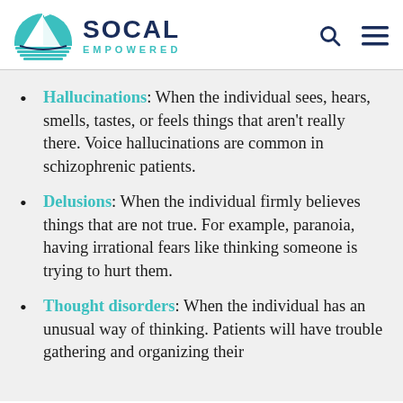SOCAL EMPOWERED
Hallucinations: When the individual sees, hears, smells, tastes, or feels things that aren't really there. Voice hallucinations are common in schizophrenic patients.
Delusions: When the individual firmly believes things that are not true. For example, paranoia, having irrational fears like thinking someone is trying to hurt them.
Thought disorders: When the individual has an unusual way of thinking. Patients will have trouble gathering and organizing their